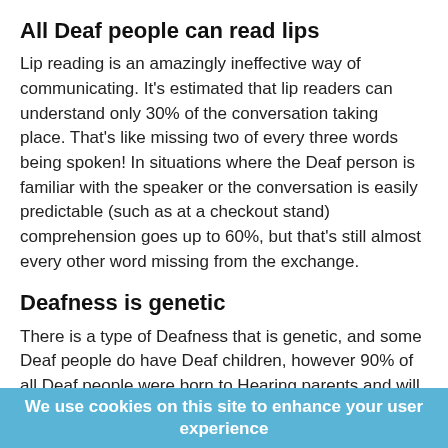All Deaf people can read lips
Lip reading is an amazingly ineffective way of communicating. It's estimated that lip readers can understand only 30% of the conversation taking place. That's like missing two of every three words being spoken! In situations where the Deaf person is familiar with the speaker or the conversation is easily predictable (such as at a checkout stand) comprehension goes up to 60%, but that's still almost every other word missing from the exchange.
Deafness is genetic
There is a type of Deafness that is genetic, and some Deaf people do have Deaf children, however 90% of all Deaf people were born to Hearing parents and will also have Hearing children. There has been no proven scientific basis for the Deafness in general.
We use cookies on this site to enhance your user experience